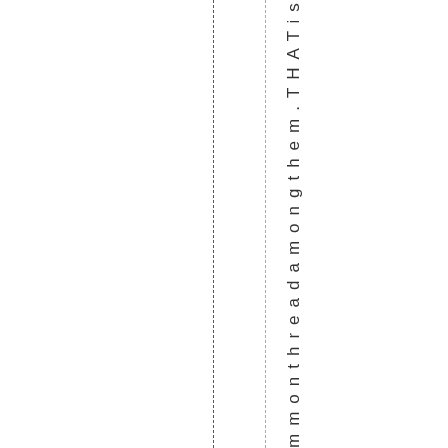mmonthreadamongthem.THATiswhat